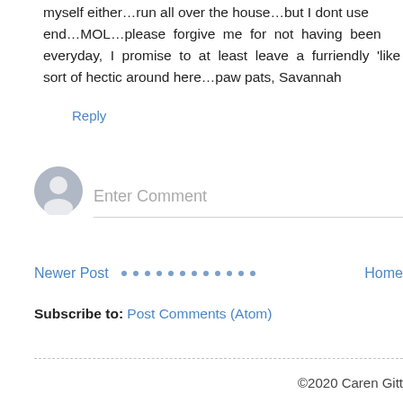myself either...run all over the house...but I dont use end...MOL...please forgive me for not having been everyday, I promise to at least leave a furriendly 'like sort of hectic around here...paw pats, Savannah
Reply
[Figure (illustration): Gray circular avatar icon with silhouette of a person, used for comment entry]
Enter Comment
Newer Post
Home
Subscribe to: Post Comments (Atom)
©2020 Caren Gitt